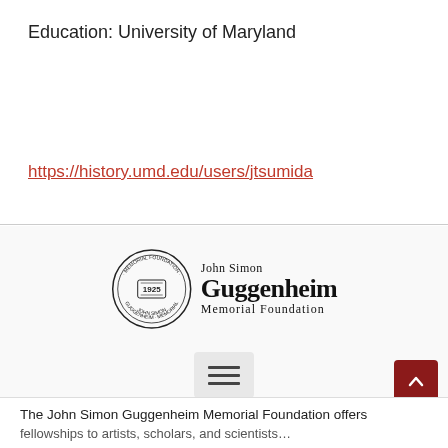Education: University of Maryland
https://history.umd.edu/users/jtsumida
[Figure (logo): John Simon Guggenheim Memorial Foundation logo with circular seal dated 1925 and serif text]
The John Simon Guggenheim Memorial Foundation offers fellowships to artists, scholars, and scientists...